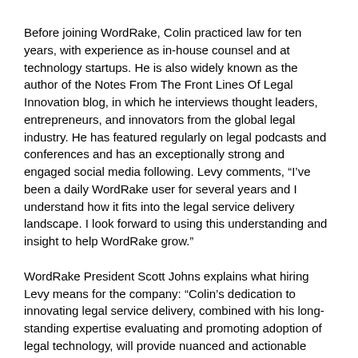Before joining WordRake, Colin practiced law for ten years, with experience as in-house counsel and at technology startups. He is also widely known as the author of the Notes From The Front Lines Of Legal Innovation blog, in which he interviews thought leaders, entrepreneurs, and innovators from the global legal industry. He has featured regularly on legal podcasts and conferences and has an exceptionally strong and engaged social media following. Levy comments, “I’ve been a daily WordRake user for several years and I understand how it fits into the legal service delivery landscape. I look forward to using this understanding and insight to help WordRake grow.”
WordRake President Scott Johns explains what hiring Levy means for the company: “Colin’s dedication to innovating legal service delivery, combined with his long-standing expertise evaluating and promoting adoption of legal technology, will provide nuanced and actionable insights for our company. Lawyers around the world rely on WordRake for clear and concise writing, and Colin will be a key leader in our ongoing efforts to continue building and providing the best editing software available.”
Levy will work closely with Nicole Abboud-Shayan, whom WordRake hired in June 2020. Nicole explains: “Colin is a standout in the legal technology and innovation community. He cares deeply about improving the quality of work lawyers do—and improving how they do it. I look forward to working with Colin to bring WordRake to more of the legal world.”